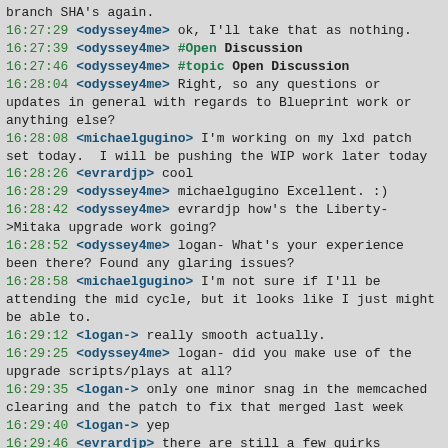branch SHA's again.
16:27:29 <odyssey4me> ok, I'll take that as nothing.
16:27:39 <odyssey4me> #Open Discussion
16:27:46 <odyssey4me> #topic Open Discussion
16:28:04 <odyssey4me> Right, so any questions or updates in general with regards to Blueprint work or anything else?
16:28:08 <michaelgugino> I'm working on my lxd patch set today.  I will be pushing the WIP work later today
16:28:26 <evrardjp> cool
16:28:29 <odyssey4me> michaelgugino Excellent. :)
16:28:42 <odyssey4me> evrardjp how's the Liberty->Mitaka upgrade work going?
16:28:52 <odyssey4me> logan- What's your experience been there? Found any glaring issues?
16:28:58 <michaelgugino> I'm not sure if I'll be attending the mid cycle, but it looks like I just might be able to.
16:29:12 <logan-> really smooth actually.
16:29:25 <odyssey4me> logan- did you make use of the upgrade scripts/plays at all?
16:29:35 <logan-> only one minor snag in the memcached clearing and the patch to fix that merged last week
16:29:40 <logan-> yep
16:29:46 <evrardjp> there are still a few quirks
16:29:47 <automagically> Didn't get much feedback on the spec for https://blueprints.launchpad.net/openstack-ansible/+spec/multi-rabbitmq-clusters Would appreciate folks chiming in with feedback if they have it
16:30:15 <evrardjp> like the agents double reported